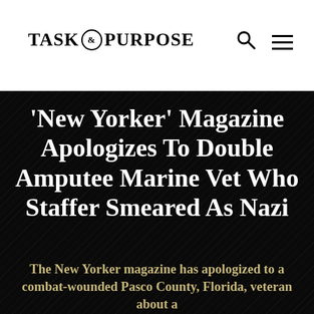TASK & PURPOSE
‘New Yorker’ Magazine Apologizes To Double Amputee Marine Vet Who Staffer Smeared As Nazi
The New Yorker magazine has apologized to a combat-wounded Pasco County, Florida, veteran about a